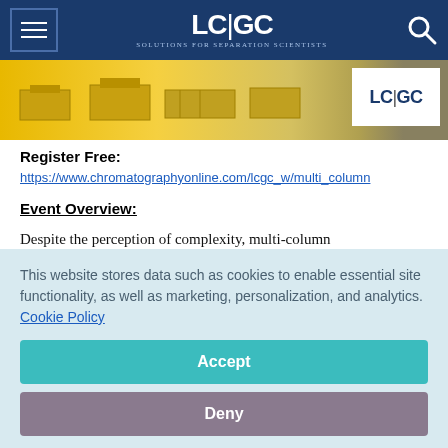LC|GC — Solutions for Separation Scientists — navigation bar
[Figure (photo): Yellow banner image with equipment/instrument diagram and LC|GC logo on white background at right]
Register Free:
https://www.chromatographyonline.com/lcgc_w/multi_column
Event Overview:
Despite the perception of complexity, multi-column chromatography (MCC) is in reality easy to understand and easy to implement. The move to MCC from batch is simple
This website stores data such as cookies to enable essential site functionality, as well as marketing, personalization, and analytics. Cookie Policy
Accept
Deny